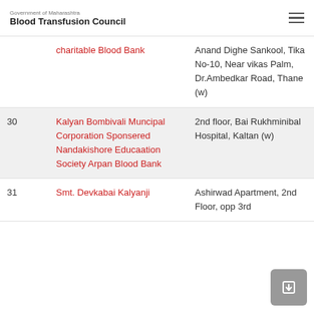Government of Maharashtra Blood Transfusion Council
| No. | Name | Address | Code |
| --- | --- | --- | --- |
|  | charitable Blood Bank | Anand Dighe Sankool, Tika No-10, Near vikas Palm, Dr.Ambedkar Road, Thane (w) |  |
| 30 | Kalyan Bombivali Muncipal Corporation Sponsered Nandakishore Educaation Society Arpan Blood Bank | 2nd floor, Bai Rukhminibal Hospital, Kaltan (w) | 025 |
| 31 | Smt. Devkabai Kalyanji | Ashirwad Apartment, 2nd Floor, opp 3rd | 025 |